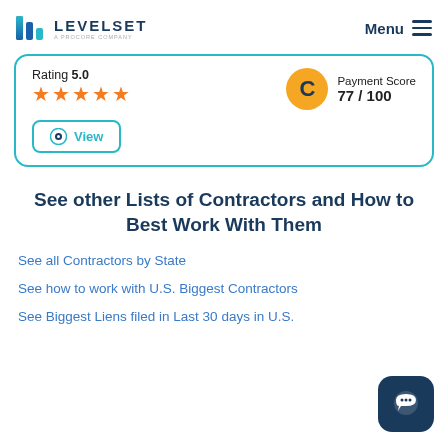LEVELSET - A PROCORE COMPANY | Menu
Rating 5.0 ★★★★★
Payment Score 77 / 100 C
View
See other Lists of Contractors and How to Best Work With Them
See all Contractors by State
See how to work with U.S. Biggest Contractors
See Biggest Liens filed in Last 30 days in U.S.